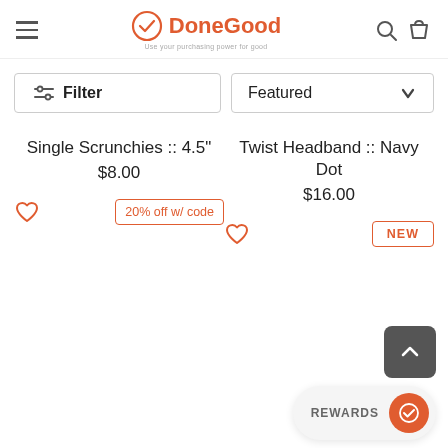[Figure (screenshot): DoneGood e-commerce website header with hamburger menu, DoneGood logo with orange circle checkmark, search icon, and shopping bag icon]
[Figure (screenshot): Filter bar with Filter button and Featured dropdown]
Single Scrunchies :: 4.5"
$8.00
Twist Headband :: Navy Dot
$16.00
20% off w/ code
NEW
REWARDS